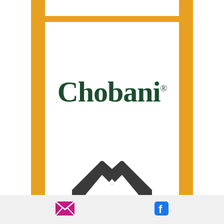[Figure (logo): Chobani brand logo in dark green serif font with registered trademark symbol, framed by gold/amber vertical and horizontal border bars]
[Figure (logo): Partially visible dark grey architectural arch/chevron logo mark in lower section of gold frame]
[Figure (infographic): Footer bar with email envelope icon (pink/magenta) on left and Facebook 'f' icon (blue) on right]